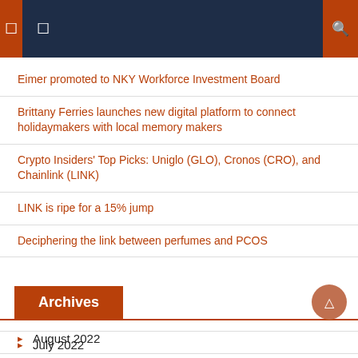Navigation header bar with menu icons and search
Eimer promoted to NKY Workforce Investment Board
Brittany Ferries launches new digital platform to connect holidaymakers with local memory makers
Crypto Insiders' Top Picks: Uniglo (GLO), Cronos (CRO), and Chainlink (LINK)
LINK is ripe for a 15% jump
Deciphering the link between perfumes and PCOS
Archives
August 2022
July 2022